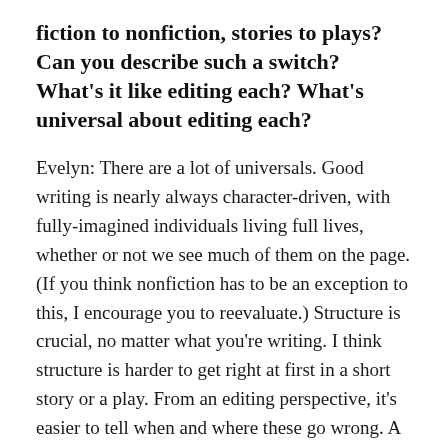fiction to nonfiction, stories to plays? Can you describe such a switch? What's it like editing each? What's universal about editing each?
Evelyn: There are a lot of universals. Good writing is nearly always character-driven, with fully-imagined individuals living full lives, whether or not we see much of them on the page. (If you think nonfiction has to be an exception to this, I encourage you to reevaluate.) Structure is crucial, no matter what you're writing. I think structure is harder to get right at first in a short story or a play. From an editing perspective, it's easier to tell when and where these go wrong. A novel's structure may not be fully clear until quite a way into it.
Dialogue matters, always, but in different ways. In novels, short stories, and nonfiction, there should